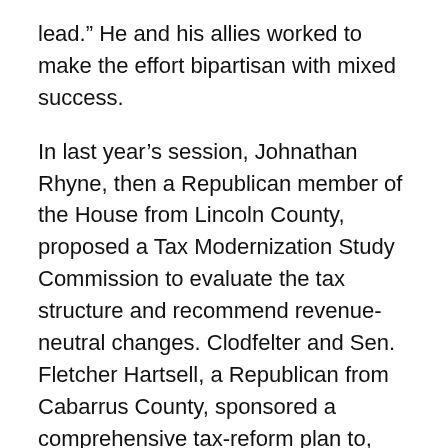lead.” He and his allies worked to make the effort bipartisan with mixed success.
In last year’s session, Johnathan Rhyne, then a Republican member of the House from Lincoln County, proposed a Tax Modernization Study Commission to evaluate the tax structure and recommend revenue-neutral changes. Clodfelter and Sen. Fletcher Hartsell, a Republican from Cabarrus County, sponsored a comprehensive tax-reform plan to, among other things, give legislators something to study and launch the debate. He also hoped to make it clear that to bring about lasting tax reform, everyone had to buy in to the idea. “The way I put it is, you have to go in with a commitment — and you have to mean it — that nobody’s ox is going to get gored, but everybody’s ox is going to get a scratch. Everything has to be on the table.”
Not his allies were always different...